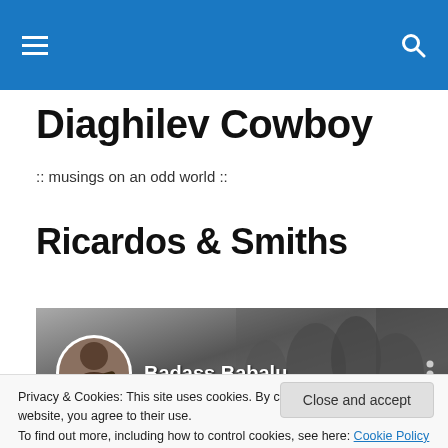Navigation bar with hamburger menu and search icon
Diaghilev Cowboy
:: musings on an odd world ::
Ricardos & Smiths
[Figure (screenshot): Video thumbnail showing a YouTube-style channel preview with a profile circle image labeled 'Badass Babalu', a grayscale background image of people, and a three-dot menu icon on the right.]
Privacy & Cookies: This site uses cookies. By continuing to use this website, you agree to their use.
To find out more, including how to control cookies, see here: Cookie Policy
Close and accept